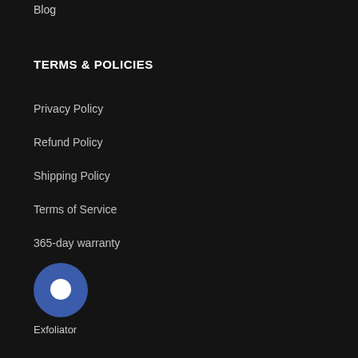Blog
TERMS & POLICIES
Privacy Policy
Refund Policy
Shipping Policy
Terms of Service
365-day warranty
[Figure (illustration): Chat bubble icon inside a dark blue circle]
Exfoliator